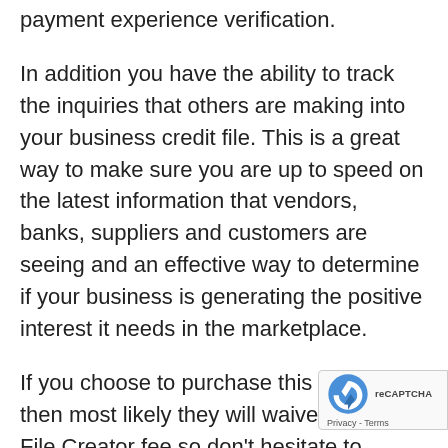payment experience verification.
In addition you have the ability to track the inquiries that others are making into your business credit file. This is a great way to make sure you are up to speed on the latest information that vendors, banks, suppliers and customers are seeing and an effective way to determine if your business is generating the positive interest it needs in the marketplace.
If you choose to purchase this product then most likely they will waive the DUNs File Creator fee so don't hesitate to request it. This product is ideal for you if you already have existing trade references that you want to add plus closely monitor the activity and inquiries on your file.